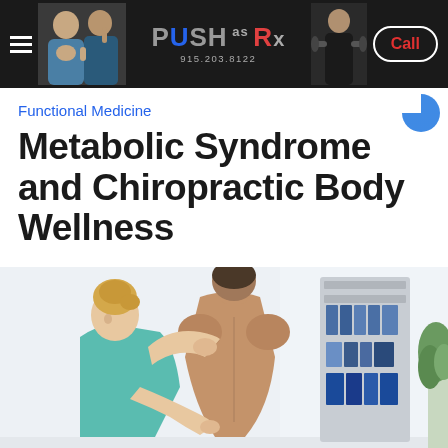PUSH as Rx | 915.203.8122 | Call
Functional Medicine
Metabolic Syndrome and Chiropractic Body Wellness
[Figure (photo): A female chiropractor in teal scrubs examining the back and shoulder of a male patient in a clinical setting with shelving and binders in the background.]